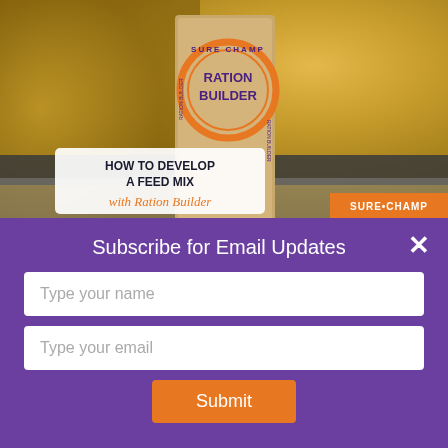[Figure (photo): Product photo of Sure Champ Ration Builder bag against a golden grain/feed background. An overlay text box reads 'HOW TO DEVELOP A FEED MIX with Ration Builder' with a Sure-Champ orange banner at the bottom right.]
× (close button)
Subscribe for Email Updates
Type your name
Type your email
Submit